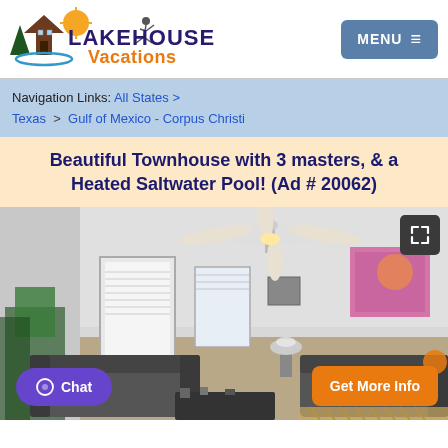[Figure (logo): Lakehouse Vacations logo with cabin, sun, water, and waterskier graphic]
Navigation Links: All States > Texas > Gulf of Mexico - Corpus Christi
Beautiful Townhouse with 3 masters, & a Heated Saltwater Pool! (Ad # 20062)
[Figure (photo): Interior living room photo of a townhouse with ceiling fan, sofa, plants, and colorful artwork on wall]
Chat
Get More Info